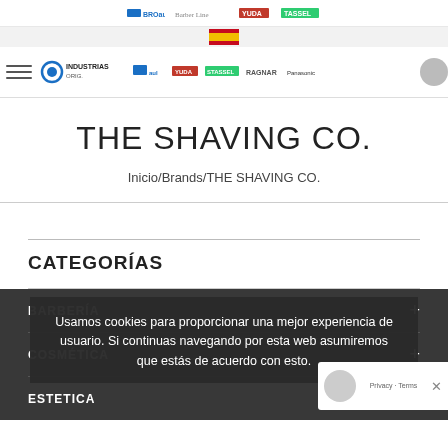BROaul / Barber Line / YUDA / TASSEL
[Figure (logo): Spanish flag icon in flag/language selector bar]
[Figure (logo): Navigation bar with Industrias Original logo and partner brand logos: BROaul, YUDA, STASSEL, RAGNAR, Panasonic; hamburger menu on left, search circle on right]
THE SHAVING CO.
Inicio/Brands/THE SHAVING CO.
CATEGORÍAS
BARBERÍA
COSMÉTICA
ESTETICA
Usamos cookies para proporcionar una mejor experiencia de usuario. Si continuas navegando por esta web asumiremos que estás de acuerdo con esto.